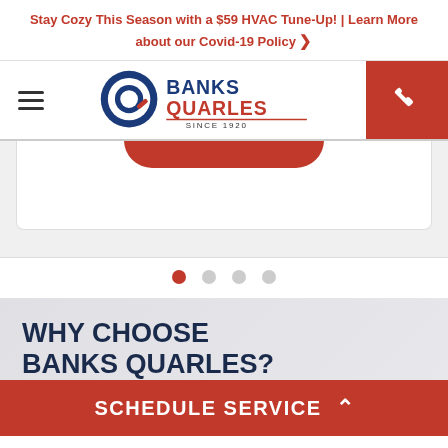Stay Cozy This Season with a $59 HVAC Tune-Up! | Learn More about our Covid-19 Policy >
[Figure (logo): Banks Quarles HVAC company logo with circular Q icon, established since 1920]
[Figure (screenshot): Hero/slider section with white card panel and red rounded button, showing slide 1 of 4 with dot pagination indicators]
WHY CHOOSE BANKS QUARLES?
SCHEDULE SERVICE